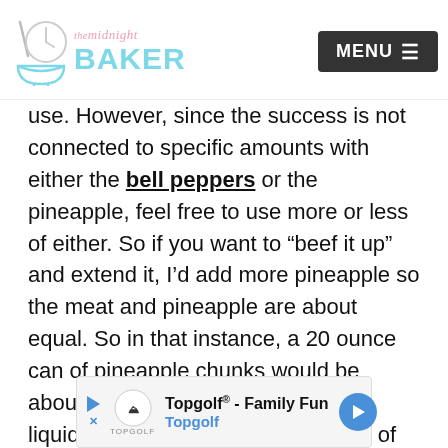The Midnight Baker | MENU
use. However, since the success is not connected to specific amounts with either the bell peppers or the pineapple, feel free to use more or less of either. So if you want to “beef it up” and extend it, I’d add more pineapple so the meat and pineapple are about equal. So in that instance, a 20 ounce can of pineapple chunks would be about right. Since there’ll be more liquid, use an additional tablespoon of cornstarch and water to thicken (if you desire the thicker sauce).
[Figure (other): Advertisement banner for Topgolf - Family Fun]